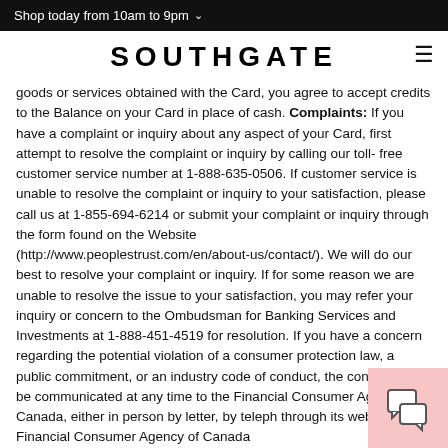Shop today from 10am to 9pm
SOUTHGATE
goods or services obtained with the Card, you agree to accept credits to the Balance on your Card in place of cash. Complaints: If you have a complaint or inquiry about any aspect of your Card, first attempt to resolve the complaint or inquiry by calling our toll- free customer service number at 1-888-635-0506. If customer service is unable to resolve the complaint or inquiry to your satisfaction, please call us at 1-855-694-6214 or submit your complaint or inquiry through the form found on the Website (http://www.peoplestrust.com/en/about-us/contact/). We will do our best to resolve your complaint or inquiry. If for some reason we are unable to resolve the issue to your satisfaction, you may refer your inquiry or concern to the Ombudsman for Banking Services and Investments at 1-888-451-4519 for resolution. If you have a concern regarding the potential violation of a consumer protection law, a public commitment, or an industry code of conduct, the concern may be communicated at any time to the Financial Consumer Agency of Canada, either in person by letter, by telephone, or through its website at: Financial Consumer Agency of Canada 427 Laurier Avenue West, 6th Floor